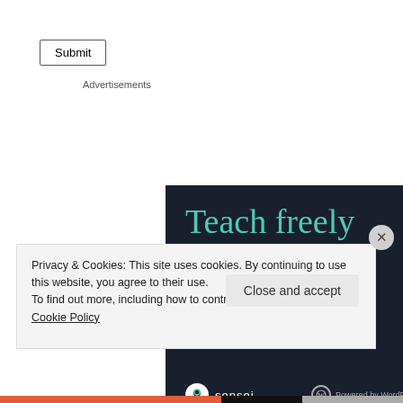Submit
Advertisements
[Figure (illustration): Advertisement for Sensei plugin showing dark background with teal text: 'Teach freely' headline and 'Make money selling online courses.' subtext, with Sensei logo and 'Powered by WordPress.com' at bottom.]
Privacy & Cookies: This site uses cookies. By continuing to use this website, you agree to their use.
To find out more, including how to control cookies, see here: Cookie Policy
Close and accept